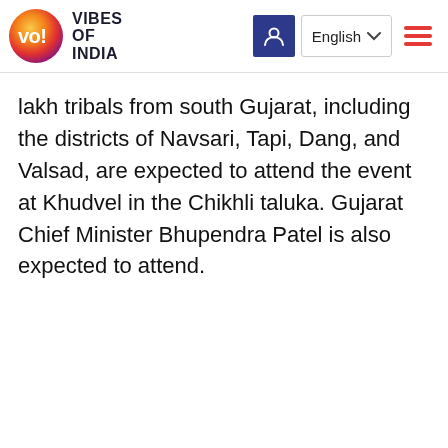Vibes of India — English
lakh tribals from south Gujarat, including the districts of Navsari, Tapi, Dang, and Valsad, are expected to attend the event at Khudvel in the Chikhli taluka. Gujarat Chief Minister Bhupendra Patel is also expected to attend.